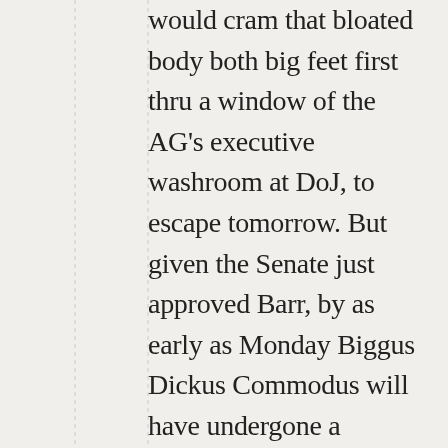would cram that bloated body both big feet first thru a window of the AG's executive washroom at DoJ, to escape tomorrow. But given the Senate just approved Barr, by as early as Monday Biggus Dickus Commodus will have undergone a magical transition akin to caterpillar to butterfly, or hagfish into slime dumpster, i.e. a material cutback in his